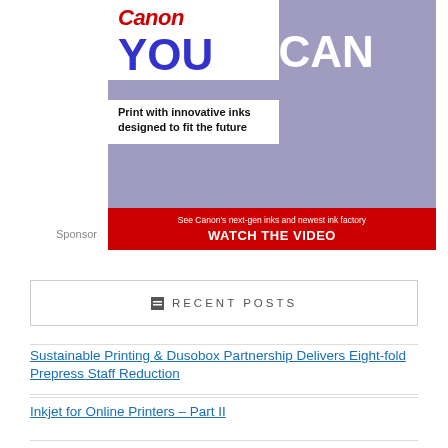[Figure (illustration): Canon Solutions America advertisement showing 'YOU CAN Print with innovative inks designed to fit the future' with a red CTA button 'See Canon's next-gen inks and newest ink factory WATCH THE VIDEO']
Sponsor
RECENT POSTS
Sustainable Printing & Dusobox Partnership Delivers Eight-fold Prepress Staff Reduction
Inkjet for Online Printers – Part II